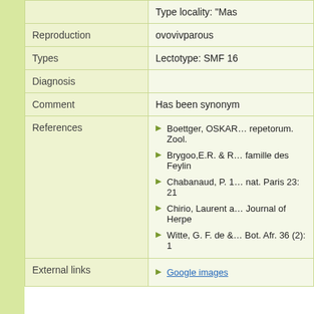| Field | Value |
| --- | --- |
|  | Type locality: “Mas… |
| Reproduction | ovovivparous |
| Types | Lectotype: SMF 16… |
| Diagnosis |  |
| Comment | Has been synonym… |
| References | Boettger, OSKAR… / Brygoo,E.R. & R… / Chabanaud, P. 1… / Chirio, Laurent a… / Witte, G. F. de &… |
| External links | Google images |